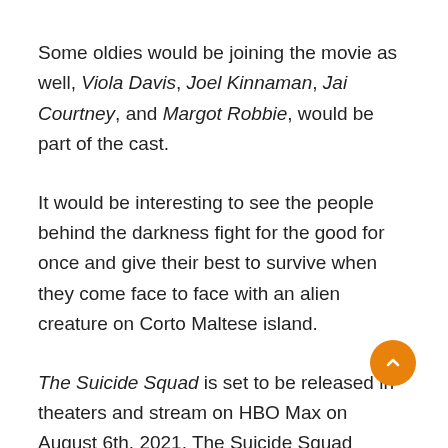Some oldies would be joining the movie as well, Viola Davis, Joel Kinnaman, Jai Courtney, and Margot Robbie, would be part of the cast.
It would be interesting to see the people behind the darkness fight for the good for once and give their best to survive when they come face to face with an alien creature on Corto Maltese island.
The Suicide Squad is set to be released in theaters and stream on HBO Max on August 6th, 2021. The Suicide Squad springs from the twisted taste of James Gunn, which must not be missed in its action.